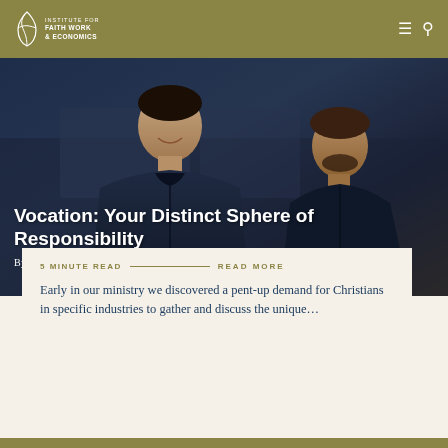Institute for Faith Work & Economics
[Figure (photo): Two young men smiling, wearing dark blue zip-up jackets, photographed from the chest up against a blurred background.]
Vocation: Your Distinct Sphere of Responsibility
By: Katherine Leary Alsdorf
5 minute read
READ MORE
Early in our ministry we discovered a pent-up demand for Christians in specific industries to gather and discuss the unique…